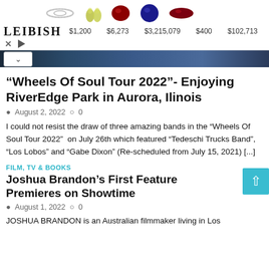[Figure (screenshot): Leibish jewelry advertisement banner showing gemstones and prices: ring $1,200, yellow drops $6,273, ruby $3,215,079, sapphire $400, red marquise $102,713]
[Figure (photo): Partial concert photo in dark blue tones, with a collapse/chevron-up button overlay]
“Wheels Of Soul Tour 2022”- Enjoying RiverEdge Park in Aurora, Ilinois
August 2, 2022  0
I could not resist the draw of three amazing bands in the “Wheels Of Soul Tour 2022”  on July 26th which featured “Tedeschi Trucks Band”, “Los Lobos” and “Gabe Dixon” (Re-scheduled from July 15, 2021) [...]
FILM, TV & BOOKS
Joshua Brandon’s First Feature Premieres on Showtime
August 1, 2022  0
JOSHUA BRANDON is an Australian filmmaker living in Los